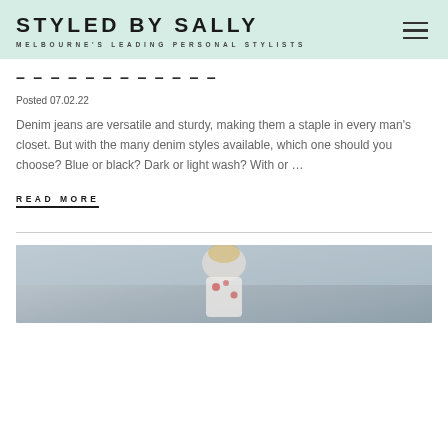STYLED BY SALLY — MELBOURNE'S LEADING PERSONAL STYLISTS
MEN'S DENIM GUIDE
Posted 07.02.22
Denim jeans are versatile and sturdy, making them a staple in every man's closet. But with the many denim styles available, which one should you choose? Blue or black? Dark or light wash? With or …
READ MORE
[Figure (photo): Street style photo of a woman in a white outfit with red floral detail, blonde hair, outdoors in an urban setting.]